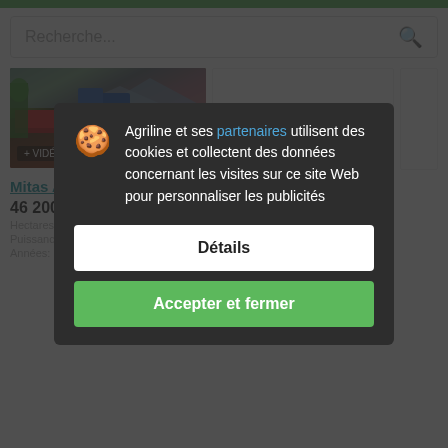[Figure (screenshot): Green top bar of website]
Recherche...
[Figure (photo): Tractor with red agricultural implement in a field with crops, with a '+ VIDÉO' badge overlay]
Mitas Armoni XL 500
46 200 € TVA incluse
Agriline et ses partenaires utilisent des cookies et collectent des données concernant les visites sur ce site Web pour personnaliser les publicités
Détails
Accepter et fermer